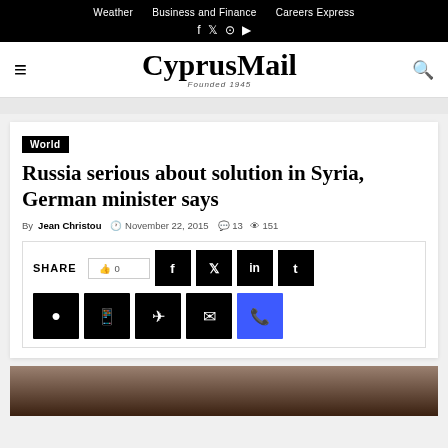Weather   Business and Finance   Careers Express
[Figure (logo): CyprusMail logo with Founded 1945 tagline]
World
Russia serious about solution in Syria, German minister says
By Jean Christou  November 22, 2015  13  151
[Figure (screenshot): Share buttons row with SHARE label, like button with 0, Facebook, Twitter, LinkedIn, Tumblr, Reddit, WhatsApp, Telegram, Email, Viber social share buttons]
[Figure (photo): Partial photo at bottom of page, dark tones]